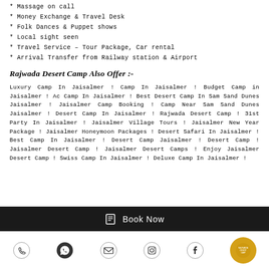* Massage on call
* Money Exchange & Travel Desk
* Folk Dances & Puppet shows
* Local sight seen
* Travel Service – Tour Package, Car rental
* Arrival Transfer from Railway station & Airport
Rajwada Desert Camp Also Offer :-
Luxury Camp In Jaisalmer ! Camp In Jaisalmer ! Budget Camp in Jaisalmer ! Ac Camp In Jaisalmer ! Best Desert Camp In Sam Sand Dunes Jaisalmer ! Jaisalmer Camp Booking ! Camp Near Sam Sand Dunes Jaisalmer ! Desert Camp In Jaisalmer ! Rajwada Desert Camp ! 31st Party In Jaisalmer ! Jaisalmer Village Tours ! Jaisalmer New Year Package ! Jaisalmer Honeymoon Packages ! Desert Safari In Jaisalmer ! Best Camp In Jaisalmer ! Desert Camp Jaisalmer ! Desert Camp ! Jaisalmer Desert Camp ! Jaisalmer Desert Camps ! Enjoy Jaisalmer Desert Camp ! Swiss Camp In Jaisalmer ! Deluxe Camp In Jaisalmer !
Book Now